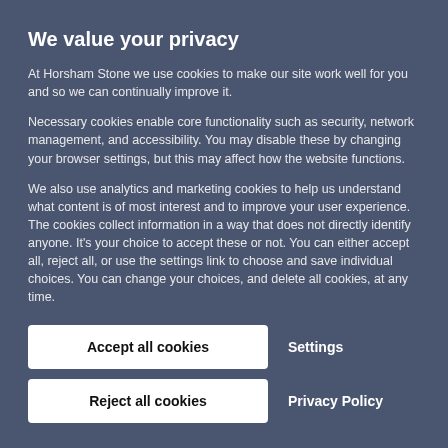We value your privacy
At Horsham Stone we use cookies to make our site work well for you and so we can continually improve it.
Necessary cookies enable core functionality such as security, network management, and accessibility. You may disable these by changing your browser settings, but this may affect how the website functions.
We also use analytics and marketing cookies to help us understand what content is of most interest and to improve your user experience. The cookies collect information in a way that does not directly identify anyone. It's your choice to accept these or not. You can either accept all, reject all, or use the settings link to choose and save individual choices. You can change your choices, and delete all cookies, at any time.
Accept all cookies
Settings
Reject all cookies
Privacy Policy